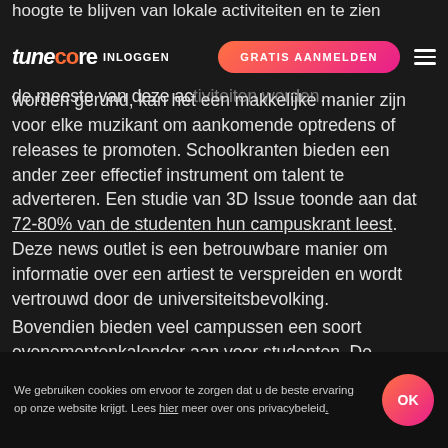hoogte te blijven van lokale activiteiten en te zien
tunecore INLOGGEN | GRATIS AANMELDEN
de meeste van deze activiteiten worden gerund, kan het een makkelijke manier zijn voor elke muzikant om aankomende optredens of releases te promoten. Schoolkranten bieden een ander zeer effectief instrument om talent te adverteren. Een studie van 3D Issue toonde aan dat 72-80% van de studenten hun campuskrant leest. Deze news outlet is een betrouwbare manier om informatie over een artiest te verspreiden en wordt vertrouwd door de universiteitsbevolking.
Bovendien bieden veel campussen een soort evenementenkalender aan voor studenten. De evenementenkalender geeft informatie (tijd en
We gebruiken cookies om ervoor te zorgen dat u de beste ervaring op onze website krijgt. Lees hier meer over ons privacybeleid.